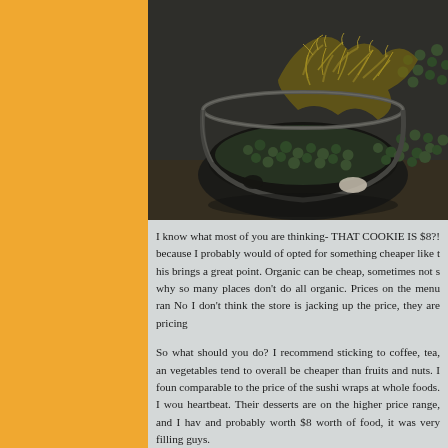[Figure (photo): Close-up photo of a dark glass terrarium bowl containing green pebbles and yellow-green dried moss/coral, on a wooden surface with dark background]
I know what most of you are thinking- THAT COOKIE IS $8?! because I probably would of opted for something cheaper like that, this brings a great point. Organic can be cheap, sometimes not so why so many places don't do all organic. Prices on the menu ran No I don't think the store is jacking up the price, they are pricing
So what should you do? I recommend sticking to coffee, tea, and vegetables tend to overall be cheaper than fruits and nuts. I found comparable to the price of the sushi wraps at whole foods. I wou heartbeat. Their desserts are on the higher price range, and I have and probably worth $8 worth of food, it was very filling guys.